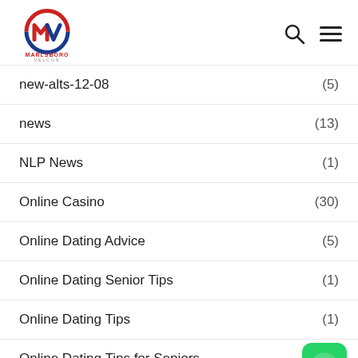Marlsboro Velcon — logo, search, menu
new-alts-12-08 (5)
news (13)
NLP News (1)
Online Casino (30)
Online Dating Advice (5)
Online Dating Senior Tips (1)
Online Dating Tips (1)
Online Dating Tips for Seniors
Online recharge (1)